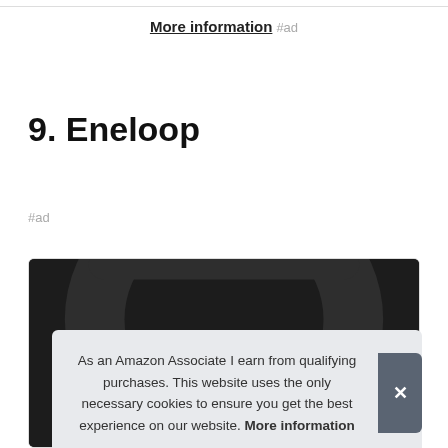More information #ad
9. Eneloop
#ad
[Figure (photo): Photo of an Eneloop battery charger, dark circular device on black background, partially visible]
As an Amazon Associate I earn from qualifying purchases. This website uses the only necessary cookies to ensure you get the best experience on our website. More information